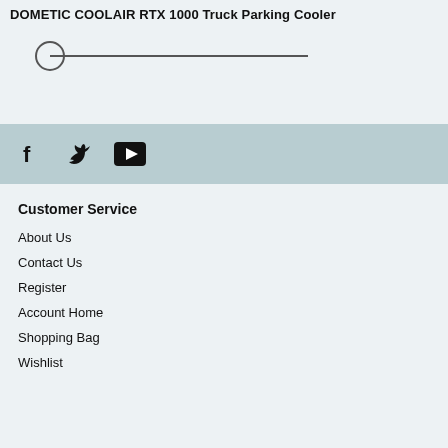DOMETIC COOLAIR RTX 1000 Truck Parking Cooler
[Figure (other): A horizontal slider UI element with a circular handle on the left and a line extending to the right]
[Figure (other): Social media icons: Facebook (f), Twitter (bird), YouTube (play button) on a muted blue-grey background bar]
Customer Service
About Us
Contact Us
Register
Account Home
Shopping Bag
Wishlist